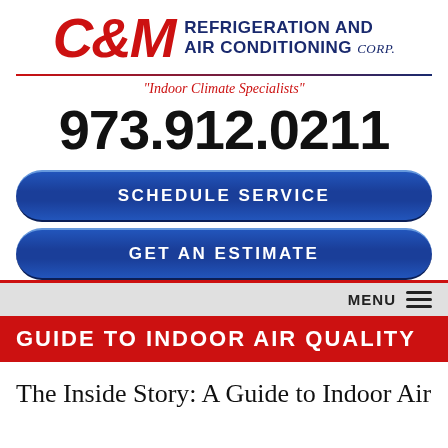[Figure (logo): C&M Refrigeration and Air Conditioning Corp. logo with red italic block letters C&M and blue text REFRIGERATION AND AIR CONDITIONING Corp.]
"Indoor Climate Specialists"
973.912.0211
SCHEDULE SERVICE
GET AN ESTIMATE
MENU
GUIDE TO INDOOR AIR QUALITY
The Inside Story: A Guide to Indoor Air